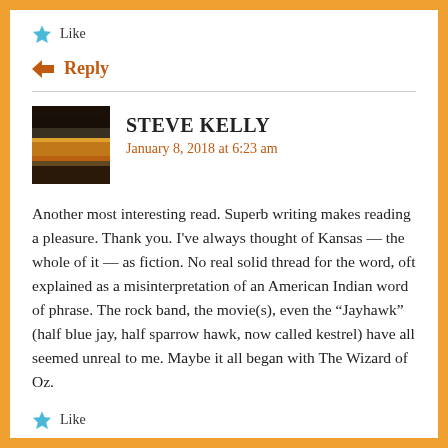Like
Reply
STEVE KELLY
January 8, 2018 at 6:23 am
Another most interesting read. Superb writing makes reading a pleasure. Thank you. I've always thought of Kansas — the whole of it — as fiction. No real solid thread for the word, oft explained as a misinterpretation of an American Indian word of phrase. The rock band, the movie(s), even the “Jayhawk” (half blue jay, half sparrow hawk, now called kestrel) have all seemed unreal to me. Maybe it all began with The Wizard of Oz.
Like